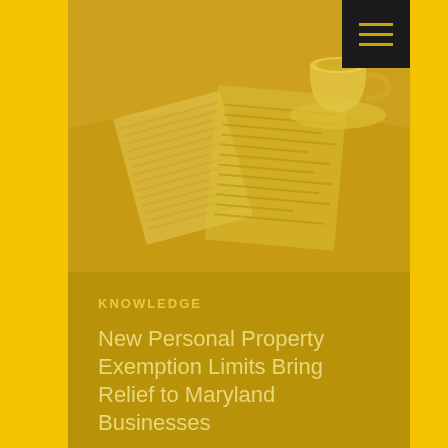[Figure (photo): A golden/yellow tinted photo showing an open book or document pages with a coffee cup and saucer in the background, styled in warm amber/gold tones. The image occupies the top portion of the page.]
KNOWLEDGE
New Personal Property Exemption Limits Bring Relief to Maryland Businesses